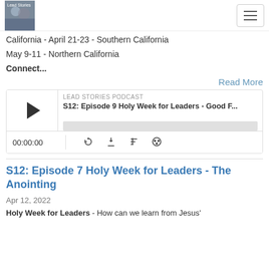Lead Stories Podcast - navigation header
California - April 21-23 - Southern California
May 9-11 - Northern California
Connect...
Read More
[Figure (screenshot): Podcast player widget for LEAD STORIES PODCAST - S12: Episode 9 Holy Week for Leaders - Good F... with play button, progress bar, time display 00:00:00, and controls for RSS feed, download, embed, and share]
S12: Episode 7 Holy Week for Leaders - The Anointing
Apr 12, 2022
Holy Week for Leaders - How can we learn from Jesus'